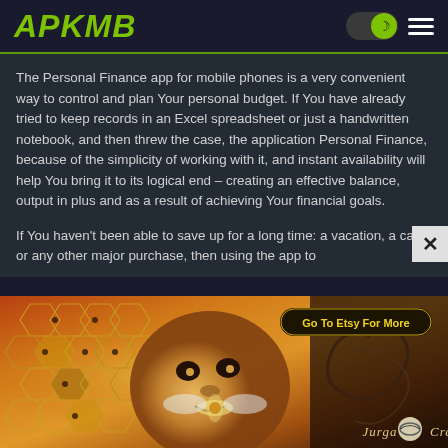APKMB
The Personal Finance app for mobile phones is a very convenient way to control and plan Your personal budget. If You have already tried to keep records in an Excel spreadsheet or just a handwritten notebook, and then threw the case, the application Personal Finance, because of the simplicity of working with it, and instant availability will help You bring it to its logical end – creating an effective balance, output in plus and as a result of achieving Your financial goals.
If You haven't been able to save up for a long time: a vacation, a car, or any other major purchase, then using the app to
[Figure (illustration): Colorful artistic advertisement banner with a face illustration and honeycomb pattern, labeled 'Go To Etsy For More' and branded 'Jurga Creations']